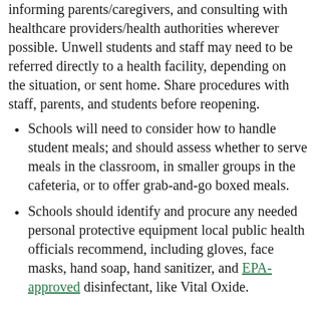informing parents/caregivers, and consulting with healthcare providers/health authorities wherever possible. Unwell students and staff may need to be referred directly to a health facility, depending on the situation, or sent home. Share procedures with staff, parents, and students before reopening.
Schools will need to consider how to handle student meals; and should assess whether to serve meals in the classroom, in smaller groups in the cafeteria, or to offer grab-and-go boxed meals.
Schools should identify and procure any needed personal protective equipment local public health officials recommend, including gloves, face masks, hand soap, hand sanitizer, and EPA-approved disinfectant, like Vital Oxide.